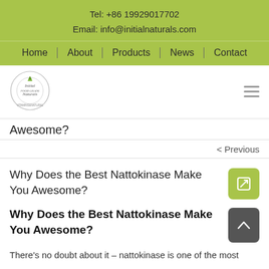Tel: +86 19929017702
Email: info@initialnaturals.com
Home | About | Products | News | Contact
[Figure (logo): Initial Naturals circular logo with green leaf motif]
Awesome?
< Previous
Why Does the Best Nattokinase Make You Awesome?
Why Does the Best Nattokinase Make You Awesome?
There's no doubt about it – nattokinase is one of the most